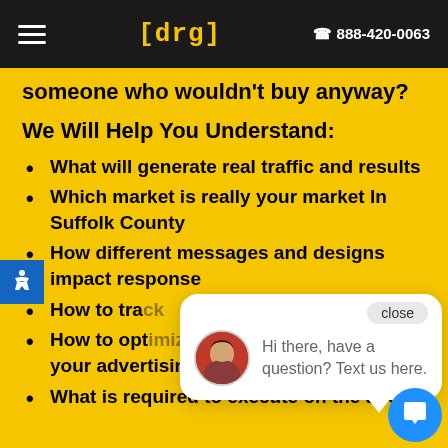[drg]  888-420-0063
someone who wouldn't buy anyway?
We Will Help You Understand:
What will generate real traffic and results
Which market is really your market In Suffolk County
How different messages and designs impact response
How to track
How to optimize and get the most out of your advertising dollars
What is required to execute on the above
[Figure (screenshot): Chat popup with avatar and message: Hi there, have a question? Text us here.]